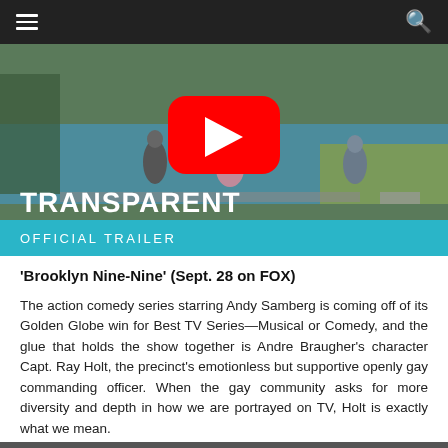☰  🔍
[Figure (screenshot): YouTube video thumbnail for 'Transparent Official Trailer' showing three people walking near a pond with a YouTube play button overlay. Text on image reads 'TRANSPARENT' and 'OFFICIAL TRAILER' on a teal bar.]
'Brooklyn Nine-Nine' (Sept. 28 on FOX)
The action comedy series starring Andy Samberg is coming off of its Golden Globe win for Best TV Series—Musical or Comedy, and the glue that holds the show together is Andre Braugher's character Capt. Ray Holt, the precinct's emotionless but supportive openly gay commanding officer. When the gay community asks for more diversity and depth in how we are portrayed on TV, Holt is exactly what we mean.